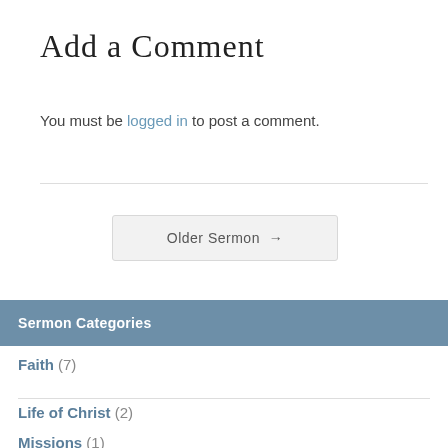Add a Comment
You must be logged in to post a comment.
Older Sermon →
Sermon Categories
Faith (7)
Life of Christ (2)
Missions (1)